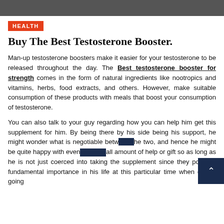[Figure (photo): Top portion of a person's silhouette against a dark background, cropped at the bottom]
HEALTH
Buy The Best Testosterone Booster.
Man-up testosterone boosters make it easier for your testosterone to be released throughout the day. The Best testosterone booster for strength comes in the form of natural ingredients like nootropics and vitamins, herbs, food extracts, and others. However, make suitable consumption of these products with meals that boost your consumption of testosterone.
You can also talk to your guy regarding how you can help him get this supplement for him. By being there by his side being his support, he might wonder what is negotiable between the two, and hence he might be quite happy with even a small amount of help or gift so as long as he is not just coerced into taking the supplement since they possess fundamental importance in his life at this particular time when one is going